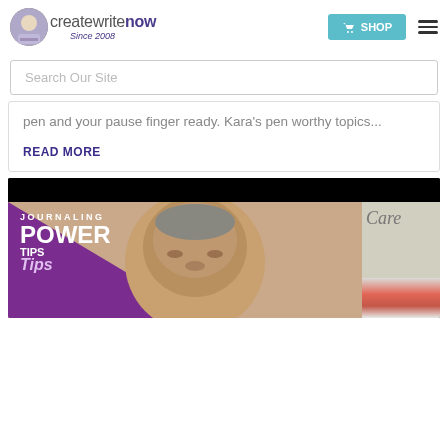createwritenow Since 2008 — SHOP
Search Our Site
pen and your pause finger ready. Kara's pen worthy topics...
READ MORE
[Figure (photo): Journaling Power Tips promotional image with a person's face and purple triangle design, with books visible on the right side]